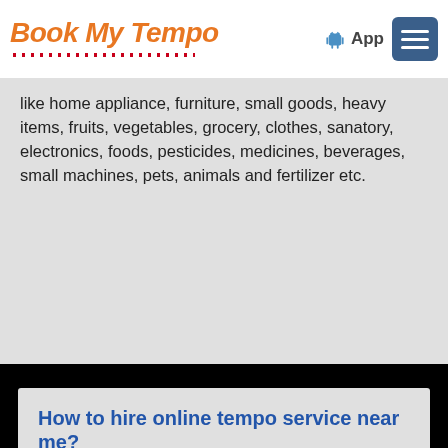Book My Tempo
like home appliance, furniture, small goods, heavy items, fruits, vegetables, grocery, clothes, sanatory, electronics, foods, pesticides, medicines, beverages, small machines, pets, animals and fertilizer etc.
How to hire online tempo service near me?
Online tempo service near me – Now, you can hire online tempo service near you quickly. At BookMyTempo, we connect with best tempo that offer affordable online truck booking. You only send your requirement, and truck service provider will contact you in no time. And then, you can book a truck online after getting rates and its availability.